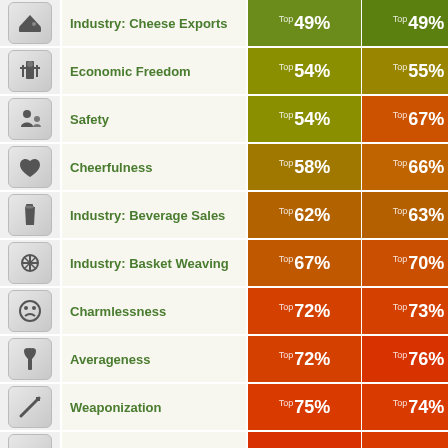| Icon | Category | Score 1 | Score 2 |
| --- | --- | --- | --- |
| [cheese icon] | Industry: Cheese Exports | Top 49% | Top 49% |
| [econ icon] | Economic Freedom | Top 54% | Top 55% |
| [safety icon] | Safety | Top 54% | Top 67% |
| [cheer icon] | Cheerfulness | Top 58% | Top 66% |
| [bev icon] | Industry: Beverage Sales | Top 62% | Top 63% |
| [basket icon] | Industry: Basket Weaving | Top 67% | Top 70% |
| [charm icon] | Charmlessness | Top 72% | Top 73% |
| [avg icon] | Averageness | Top 72% | Top 76% |
| [weapon icon] | Weaponization | Top 75% | Top 74% |
| [wealth icon] | Wealth Gaps | Top 76% | Top 73% |